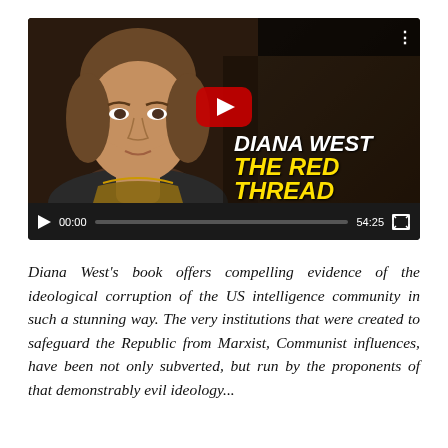[Figure (screenshot): YouTube video thumbnail/player showing a video titled 'How Communist Ideology Infiltr...' from the 'Thought Leaders' channel. The thumbnail shows a woman on the left with text 'DIANA WEST' and 'THE RED THREAD' in bold italic yellow and white text on the right, with a YouTube play button. The video player controls show time 00:00 and duration 54:25.]
Diana West's book offers compelling evidence of the ideological corruption of the US intelligence community in such a stunning way. The very institutions that were created to safeguard the Republic from Marxist, Communist influences, have been not only subverted, but run by the proponents of that demonstrably evil ideology...